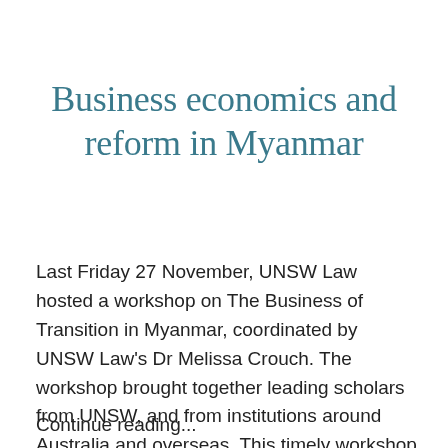Business economics and reform in Myanmar
Last Friday 27 November, UNSW Law hosted a workshop on The Business of Transition in Myanmar, coordinated by UNSW Law's Dr Melissa Crouch. The workshop brought together leading scholars from UNSW, and from institutions around Australia and overseas. This timely workshop not only addressed a key issue facing Myanmar, but one that is of direct relevance to
Continue reading...